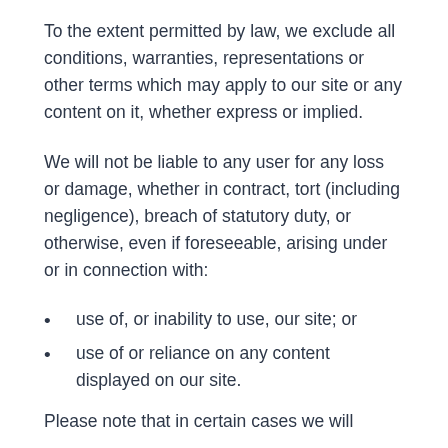To the extent permitted by law, we exclude all conditions, warranties, representations or other terms which may apply to our site or any content on it, whether express or implied.
We will not be liable to any user for any loss or damage, whether in contract, tort (including negligence), breach of statutory duty, or otherwise, even if foreseeable, arising under or in connection with:
use of, or inability to use, our site; or
use of or reliance on any content displayed on our site.
Please note that in certain cases we will